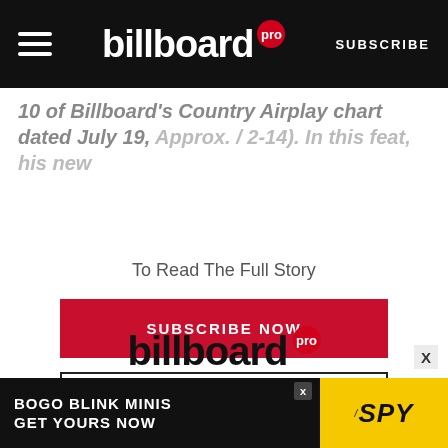billboard pro — SUBSCRIBE
10 of Billboard's Country Airplay chart dated July 19, (approx. / 2-14). In this feat, his new
To Read The Full Story
SUBSCRIBE NOW
LOG IN
[Figure (logo): Billboard Pro logo — large black billboard wordmark with red circular pro badge]
[Figure (infographic): Ad banner: BOGO BLINK MINIS GET YOURS NOW on dark background with SPY logo on yellow background]